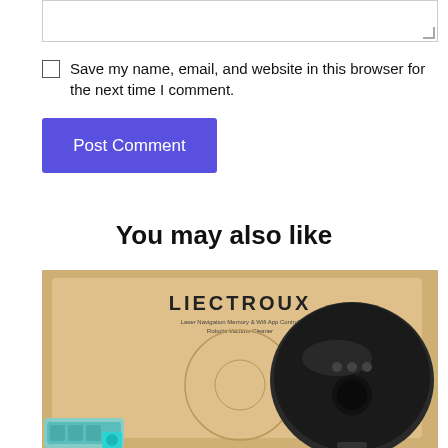[Figure (screenshot): Textarea input box with resize handle at bottom right]
Save my name, email, and website in this browser for the next time I comment.
Post Comment
You may also like
[Figure (photo): LIECTROUX robotic vacuum cleaner shown with its box packaging and accessories]